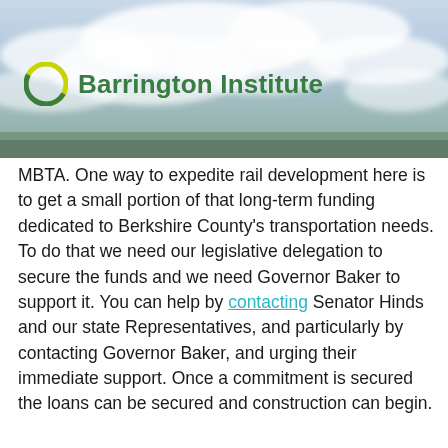[Figure (photo): Sky with clouds background image, with Barrington Institute logo (green circle icon and green bold text) overlaid in lower left]
MBTA. One way to expedite rail development here is to get a small portion of that long-term funding dedicated to Berkshire County's transportation needs. To do that we need our legislative delegation to secure the funds and we need Governor Baker to support it. You can help by contacting Senator Hinds and our state Representatives, and particularly by contacting Governor Baker, and urging their immediate support. Once a commitment is secured the loans can be secured and construction can begin.